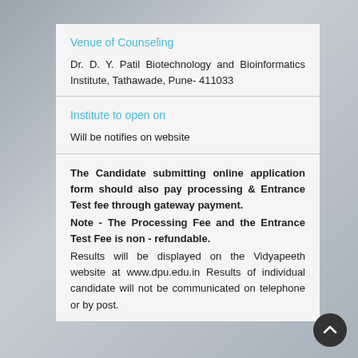Venue of Counseling
Dr. D. Y. Patil Biotechnology and Bioinformatics Institute, Tathawade, Pune- 411033
Institute to open on
Will be notifies on website
The Candidate submitting online application form should also pay processing & Entrance Test fee through gateway payment. Note - The Processing Fee and the Entrance Test Fee is non - refundable. Results will be displayed on the Vidyapeeth website at www.dpu.edu.in Results of individual candidate will not be communicated on telephone or by post.